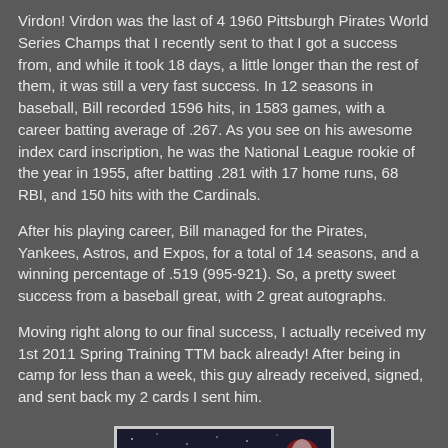Virdon! Virdon was the last of 4 1960 Pittsburgh Pirates World Series Champs that I recently sent to that I got a success from, and while it took 18 days, a little longer than the rest of them, it was still a very fast success. In 12 seasons in baseball, Bill recorded 1596 hits, in 1583 games, with a career batting average of .267. As you see on his awesome index card inscription, he was the National League rookie of the year in 1955, after batting .281 with 17 home runs, 68 RBI, and 150 hits with the Cardinals.
After his playing career, Bill managed for the Pirates, Yankees, Astros, and Expos, for a total of 14 seasons, and a winning percentage of .519 (995-921). So, a pretty sweet success from a baseball great, with 2 great autographs.
Moving right along to our final success, I actually received my 1st 2011 Spring Training TTM back already! After being in camp for less than a week, this guy already received, signed, and sent back my 2 cards I sent him.
[Figure (photo): Baseball card image showing 'Stars of' text with a player in a red cap on a dark starry background, framed with a light border.]